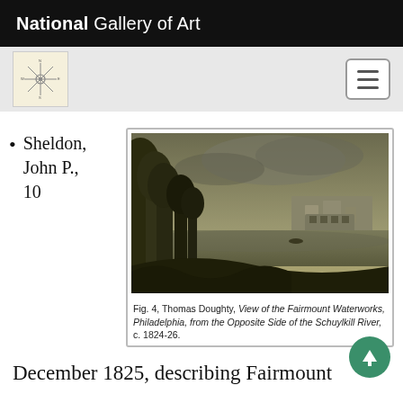National Gallery of Art
Sheldon, John P., 10
[Figure (photo): Painting by Thomas Doughty, a landscape view of the Fairmount Waterworks in Philadelphia from the opposite side of the Schuylkill River, c. 1824-26. Dark toned painting with trees, water, and buildings in the background under a cloudy sky.]
Fig. 4, Thomas Doughty, View of the Fairmount Waterworks, Philadelphia, from the Opposite Side of the Schuylkill River, c. 1824-26.
December 1825, describing Fairmount